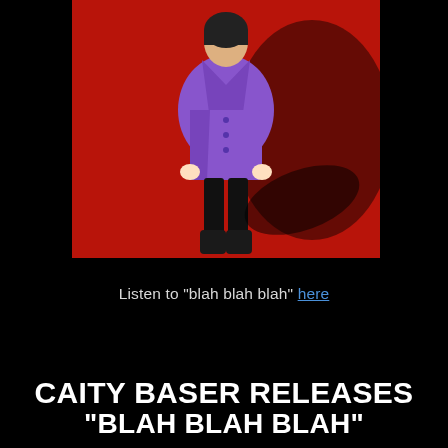[Figure (photo): Person wearing a purple oversized blazer/coat and black boots standing on a red background, photographed from above/slightly elevated angle, casting a dark shadow. Black background border around the photo.]
Listen to "blah blah blah" here
CAITY BASER RELEASES
"BLAH BLAH BLAH"